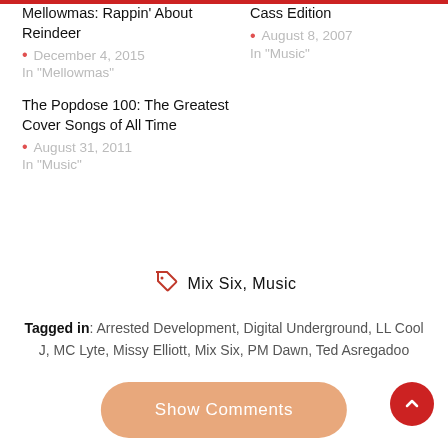Mellowmas: Rappin' About Reindeer
• December 4, 2015
In "Mellowmas"
Cass Edition
• August 8, 2007
In "Music"
The Popdose 100: The Greatest Cover Songs of All Time
• August 31, 2011
In "Music"
Mix Six, Music
Tagged in: Arrested Development, Digital Underground, LL Cool J, MC Lyte, Missy Elliott, Mix Six, PM Dawn, Ted Asregadoo
Show Comments